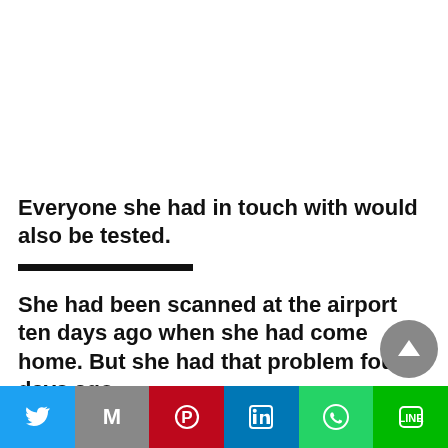Everyone she had in touch with would also be tested.
She had been scanned at the airport ten days ago when she had come home. But she had that problem four days ago.
Kanika further wrote that at that stage, she would like to tell them all that they should